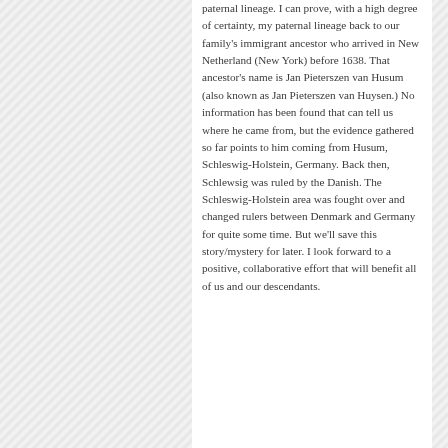paternal lineage. I can prove, with a high degree of certainty, my paternal lineage back to our family's immigrant ancestor who arrived in New Netherland (New York) before 1638. That ancestor's name is Jan Pieterszen van Husum (also known as Jan Pieterszen van Huysen.) No information has been found that can tell us where he came from, but the evidence gathered so far points to him coming from Husum, Schleswig-Holstein, Germany. Back then, Schlewsig was ruled by the Danish. The Schleswig-Holstein area was fought over and changed rulers between Denmark and Germany for quite some time. But we'll save this story/mystery for later. I look forward to a positive, collaborative effort that will benefit all of us and our descendants.